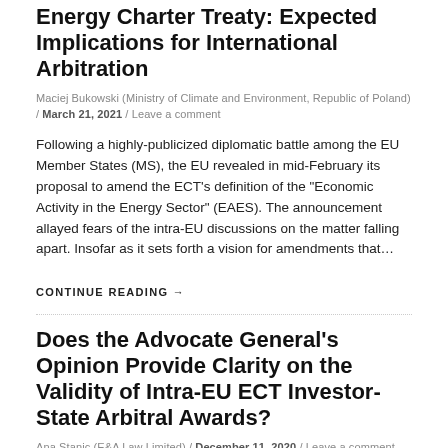Energy Charter Treaty: Expected Implications for International Arbitration
Maciej Bukowski (Ministry of Climate and Environment, Republic of Poland) / March 21, 2021 / Leave a comment
Following a highly-publicized diplomatic battle among the EU Member States (MS), the EU revealed in mid-February its proposal to amend the ECT’s definition of the “Economic Activity in the Energy Sector” (EAES). The announcement allayed fears of the intra-EU discussions on the matter falling apart. Insofar as it sets forth a vision for amendments that…
CONTINUE READING →
Does the Advocate General’s Opinion Provide Clarity on the Validity of Intra-EU ECT Investor-State Arbitral Awards?
Ana Stanic (E&A Law Limited) / December 11, 2020 / Leave a comment